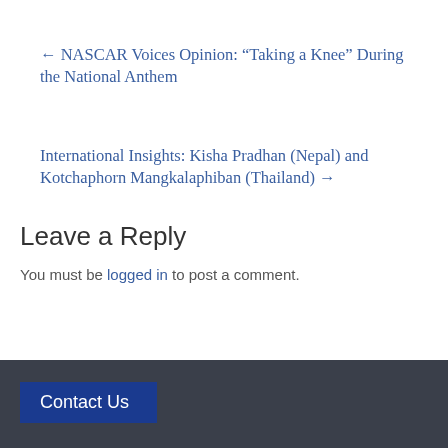← NASCAR Voices Opinion: “Taking a Knee” During the National Anthem
International Insights: Kisha Pradhan (Nepal) and Kotchaphorn Mangkalaphiban (Thailand) →
Leave a Reply
You must be logged in to post a comment.
Contact Us